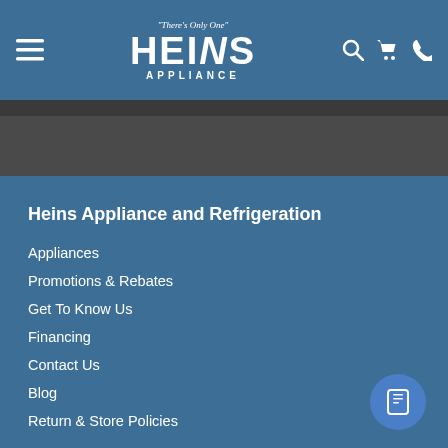[Figure (logo): Heins Appliance logo with tagline 'There's Only One' in script, large bold HEINS text, and APPLIANCE below]
Heins Appliance and Refrigeration
Appliances
Promotions & Rebates
Get To Know Us
Financing
Contact Us
Blog
Return & Store Policies